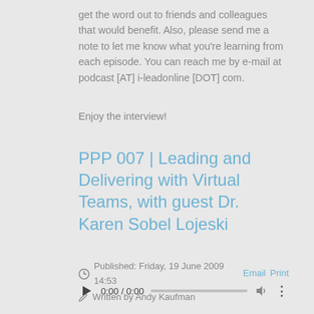get the word out to friends and colleagues that would benefit. Also, please send me a note to let me know what you're learning from each episode. You can reach me by e-mail at podcast [AT] i-leadonline [DOT] com.
Enjoy the interview!
PPP 007 | Leading and Delivering with Virtual Teams, with guest Dr. Karen Sobel Lojeski
Published: Friday, 19 June 2009 14:53
Written by Andy Kaufman
[Figure (other): Audio player with play button, time display 0:00 / 0:00, progress bar, volume icon, and more options icon]